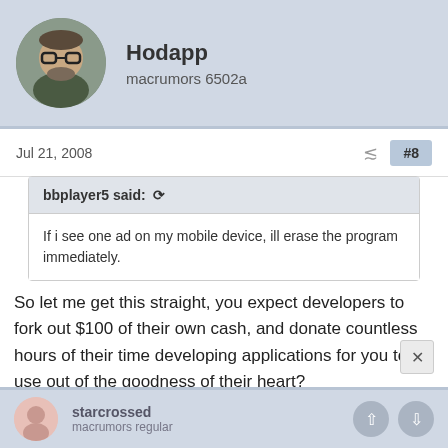[Figure (photo): User avatar of Hodapp, circular cropped photo of a young man with glasses and a beard wearing a dark jacket]
Hodapp
macrumors 6502a
Jul 21, 2008
#8
bbplayer5 said: ↺
If i see one ad on my mobile device, ill erase the program immediately.
So let me get this straight, you expect developers to fork out $100 of their own cash, and donate countless hours of their time developing applications for you to use out of the goodness of their heart?
[Figure (photo): Partial user avatar of starcrossed, circular cropped icon with a pink/salmon background]
starcrossed
macrumors regular